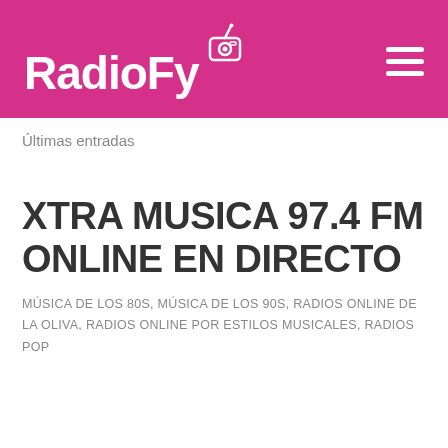RadioFy
Últimas entradas
XTRA MUSICA 97.4 FM ONLINE EN DIRECTO
MÚSICA DE LOS 80S, MÚSICA DE LOS 90S, RADIOS ONLINE DE LA OLIVA, RADIOS ONLINE POR ESTILOS MUSICALES, RADIOS POP